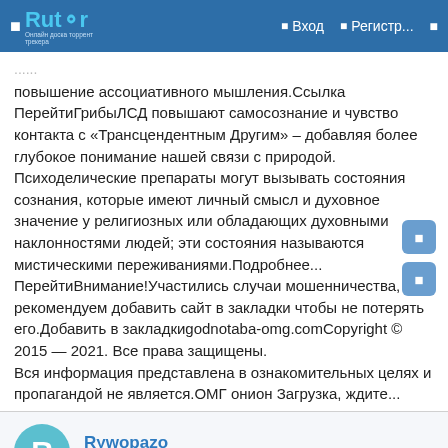Rutor — Вход — Регистр...
повышение ассоциативного мышления.Ссылка ПерейтиГрибыЛСД повышают самосознание и чувство контакта с «Трансцендентным Другим» – добавляя более глубокое понимание нашей связи с природой. Психоделические препараты могут вызывать состояния сознания, которые имеют личный смысл и духовное значение у религиозных или обладающих духовными наклонностями людей; эти состояния называются мистическими переживаниями.Подробнее... ПерейтиВнимание!Участились случаи мошенничества, рекомендуем добавить сайт в закладки чтобы не потерять его.Добавить в закладкиgodnotaba-omg.comCopyright © 2015 — 2021. Все права защищены.
Вся информация представлена в ознакомительных целях и пропагандой не является.ОМГ онион Загрузка, ждите...
Rywopazo
Пассажир